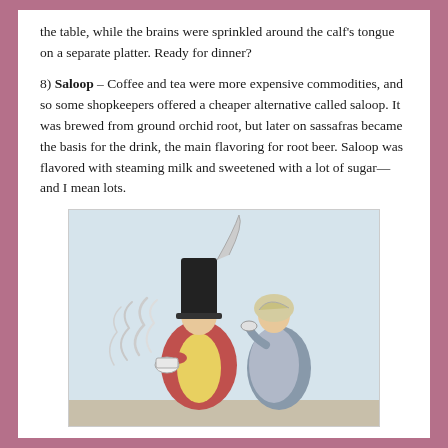the table, while the brains were sprinkled around the calf's tongue on a separate platter. Ready for dinner?
8) Saloop – Coffee and tea were more expensive commodities, and so some shopkeepers offered a cheaper alternative called saloop. It was brewed from ground orchid root, but later on sassafras became the basis for the drink, the main flavoring for root beer. Saloop was flavored with steaming milk and sweetened with a lot of sugar—and I mean lots.
[Figure (illustration): A historical illustration showing two figures, one wearing a tall black military-style hat, appearing to share or drink a hot steaming beverage. Steam or smoke is visible rising from the cup.]